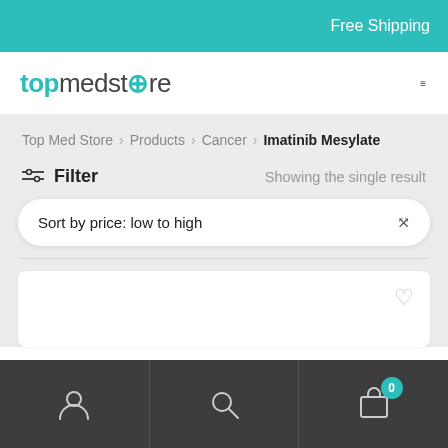Free Shipping
[Figure (logo): topmedstore logo with teal colored 'top' and plus sign]
Top Med Store > Products > Cancer > Imatinib Mesylate
Filter   Showing the single result
Sort by price: low to high
[Figure (screenshot): Product card with wishlist heart icon, partially visible]
Account | Search | Cart (0)